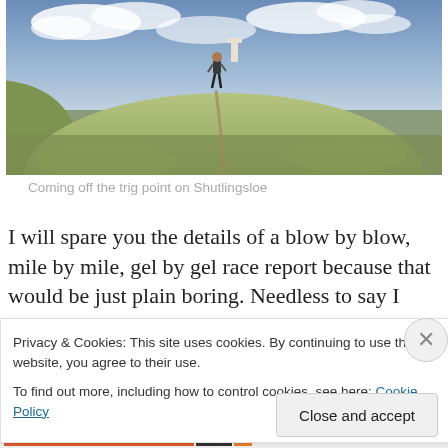[Figure (photo): A runner descending a grassy hill from a trig point on Shutlingsloe, with a cloudy sky in the background. The landscape shows rolling hills and moorland.]
Coming off the trig point on Shutlingsloe
I will spare you the details of a blow by blow, mile by mile, gel by gel race report because that would be just plain boring. Needless to say I finished in 7hr21.14 and was
Privacy & Cookies: This site uses cookies. By continuing to use this website, you agree to their use.
To find out more, including how to control cookies, see here: Cookie Policy
Close and accept